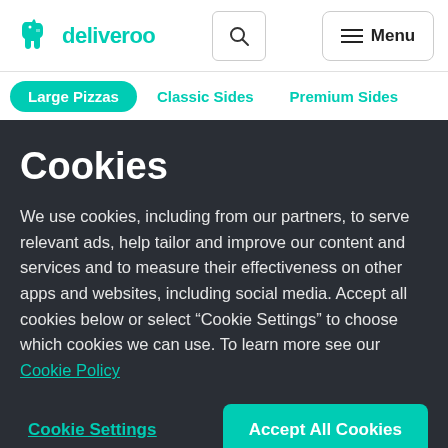deliveroo — Search — Menu
Large Pizzas  Classic Sides  Premium Sides
Cookies
We use cookies, including from our partners, to serve relevant ads, help tailor and improve our content and services and to measure their effectiveness on other apps and websites, including social media. Accept all cookies below or select “Cookie Settings” to choose which cookies we can use. To learn more see our Cookie Policy
Cookie Settings
Accept All Cookies